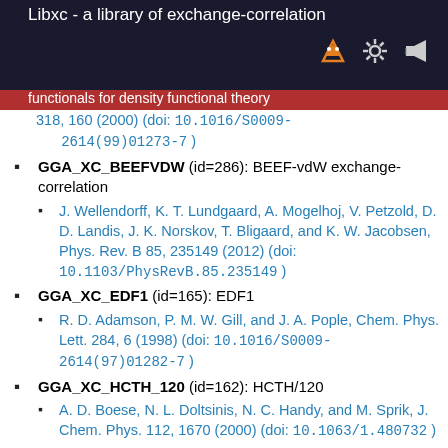Libxc - a library of exchange-correlation
functionals for density functional theory
318, 160 (2000) (doi: 10.1016/S0009-2614(99)01273-7)
GGA_XC_BEEFVDW (id=286): BEEF-vdW exchange-correlation
J. Wellendorff, K. T. Lundgaard, A. Mogelhoj, V. Petzold, D. D. Landis, J. K. Norskov, T. Bligaard, and K. W. Jacobsen, Phys. Rev. B 85, 235149 (2012) (doi: 10.1103/PhysRevB.85.235149)
GGA_XC_EDF1 (id=165): EDF1
R. D. Adamson, P. M. W. Gill, and J. A. Pople, Chem. Phys. Lett. 284, 6 (1998) (doi: 10.1016/S0009-2614(97)01282-7)
GGA_XC_HCTH_120 (id=162): HCTH/120
A. D. Boese, N. L. Doltsinis, N. C. Handy, and M. Sprik, J. Chem. Phys. 112, 1670 (2000) (doi: 10.1063/1.480732)
GGA_XC_HCTH_147 (id=163): HCTH/147
A. D. Boese, N. L. Doltsinis, N. C. Handy, and M. Sprik, J. Chem. Phys. 112, 1670 (2000) (doi: